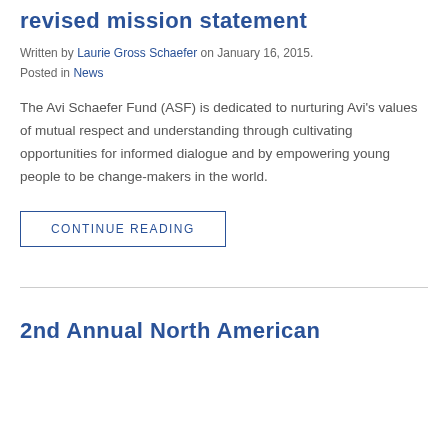revised mission statement
Written by Laurie Gross Schaefer on January 16, 2015. Posted in News
The Avi Schaefer Fund (ASF) is dedicated to nurturing Avi’s values of mutual respect and understanding through cultivating opportunities for informed dialogue and by empowering young people to be change-makers in the world.
CONTINUE READING
2nd Annual North American